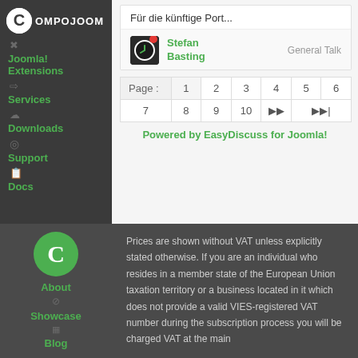[Figure (logo): Compojoom logo with C icon and text COMPOJOOM]
Joomla! Extensions
Services
Downloads
Support
Docs
Für die künftige Port...
Stefan Basting   General Talk
Page : 1 2 3 4 5 6 7 8 9 10 ▶▶ ▶▶|
Powered by EasyDiscuss for Joomla!
[Figure (logo): Green circle C logo in sidebar footer]
About
Showcase
Blog
Prices are shown without VAT unless explicitly stated otherwise. If you are an individual who resides in a member state of the European Union taxation territory or a business located in it which does not provide a valid VIES-registered VAT number during the subscription process you will be charged VAT at the main